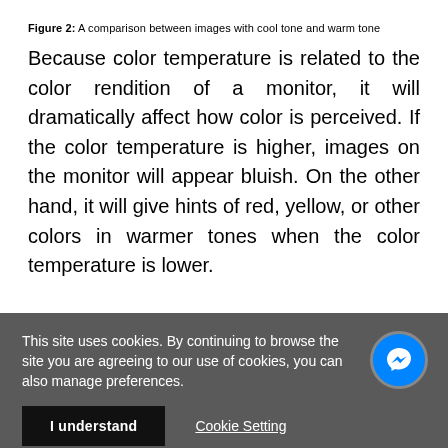Figure 2: A comparison between images with cool tone and warm tone
Because color temperature is related to the color rendition of a monitor, it will dramatically affect how color is perceived. If the color temperature is higher, images on the monitor will appear bluish. On the other hand, it will give hints of red, yellow, or other colors in warmer tones when the color temperature is lower.
This site uses cookies. By continuing to browse the site you are agreeing to our use of cookies, you can also manage preferences.
I understand
Cookie Setting
Find More